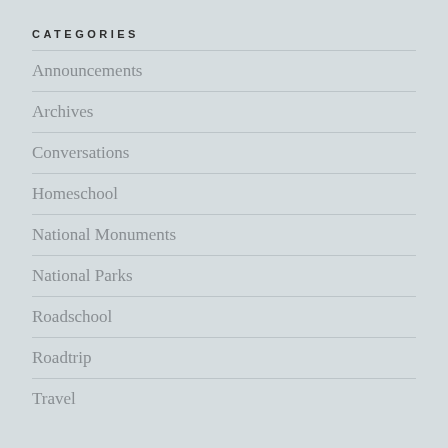CATEGORIES
Announcements
Archives
Conversations
Homeschool
National Monuments
National Parks
Roadschool
Roadtrip
Travel